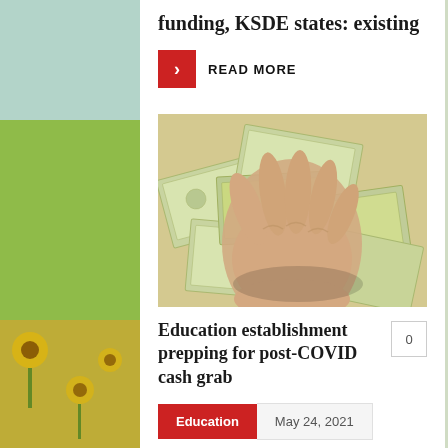funding, KSDE states: existing
READ MORE
[Figure (photo): A hand grabbing a pile of US dollar bills (hundred dollar notes), representing money/cash]
Education establishment prepping for post-COVID cash grab
0
Education
May 24, 2021